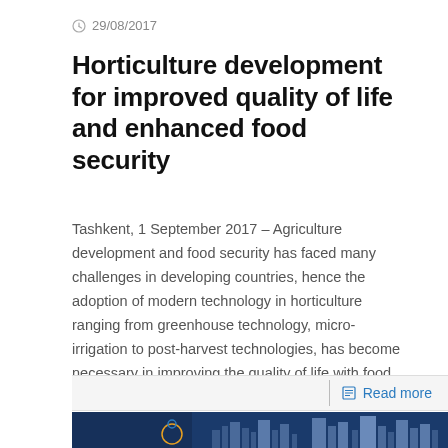29/08/2017
Horticulture development for improved quality of life and enhanced food security
Tashkent, 1 September 2017 – Agriculture development and food security has faced many challenges in developing countries, hence the adoption of modern technology in horticulture ranging from greenhouse technology, micro-irrigation to post-harvest technologies, has become necessary in improving the quality of life with food security.
Read more
[Figure (photo): Blue cityscape background with a figure/logo illustration in the foreground featuring city skyline and a stylized person with orange/blue circular design]